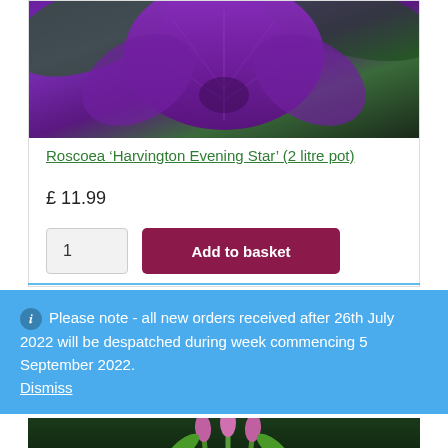[Figure (photo): Close-up photo of a purple Roscoea flower with dark green leaves in the background]
Roscoea ‘Harvington Evening Star’ (2 litre pot)
£ 11.99
1
Add to basket
Please note - all new orders received after 26th July 2022 will be despatched during week commencing 5 September 2022.
Dismiss
[Figure (photo): Photo of pink and purple Roscoea flower buds emerging from green stems against a blurred green background]